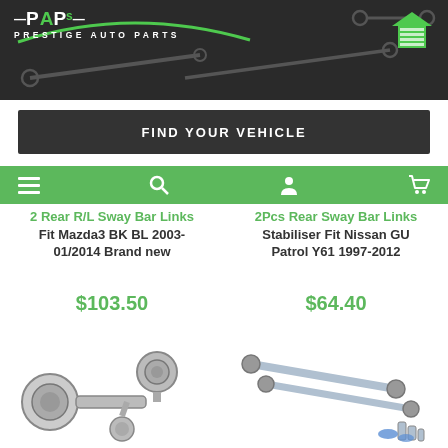[Figure (photo): Prestige Auto Parts website header with dark background showing automotive suspension parts, logo with green accent, and garage/house icon]
PRESTIGE AUTO PARTS
FIND YOUR VEHICLE
2 Rear R/L Sway Bar Links Fit Mazda3 BK BL 2003-01/2014 Brand new
$103.50
2Pcs Rear Sway Bar Links Stabiliser Fit Nissan GU Patrol Y61 1997-2012
$64.40
[Figure (photo): Sway bar link / stabilizer bar end link automotive part]
[Figure (photo): Longer sway bar links / stabiliser rods with nuts for Nissan Patrol]